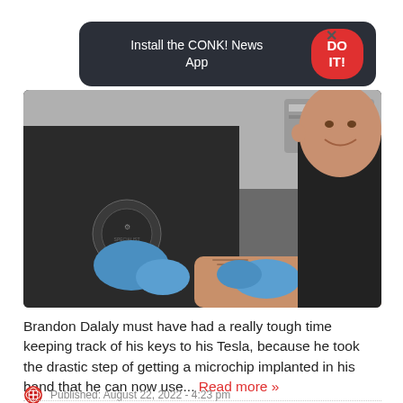[Figure (screenshot): Dark banner with text 'Install the CONK! News App', red 'DO IT!' button, and X close button]
[Figure (photo): A person in a black apron with blue gloves performing a microchip implant procedure on another person's hand. The recipient is wearing a dark t-shirt and smiling.]
Brandon Dalaly must have had a really tough time keeping track of his keys to his Tesla, because he took the drastic step of getting a microchip implanted in his hand that he can now use... Read more »
Published: August 22, 2022 - 4:23 pm